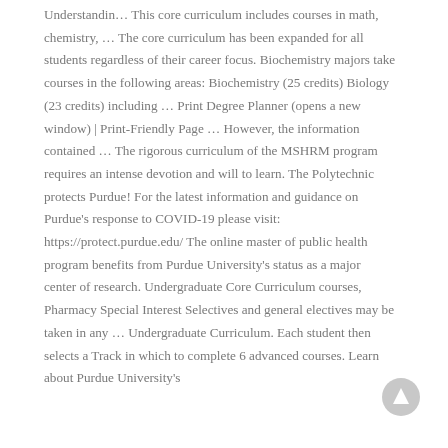Understandin… This core curriculum includes courses in math, chemistry, … The core curriculum has been expanded for all students regardless of their career focus. Biochemistry majors take courses in the following areas: Biochemistry (25 credits) Biology (23 credits) including … Print Degree Planner (opens a new window) | Print-Friendly Page … However, the information contained … The rigorous curriculum of the MSHRM program requires an intense devotion and will to learn. The Polytechnic protects Purdue! For the latest information and guidance on Purdue's response to COVID-19 please visit: https://protect.purdue.edu/ The online master of public health program benefits from Purdue University's status as a major center of research. Undergraduate Core Curriculum courses, Pharmacy Special Interest Selectives and general electives may be taken in any … Undergraduate Curriculum. Each student then selects a Track in which to complete 6 advanced courses. Learn about Purdue University's
[Figure (other): Circular scroll-to-top button with an upward arrow, light gray background]